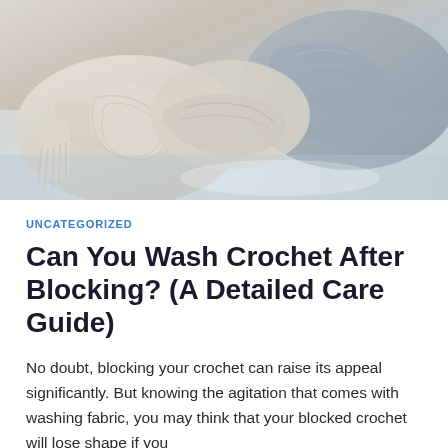[Figure (photo): Closeup photo of folded knitted/crocheted fabric items in cream and gray tones on a light surface]
UNCATEGORIZED
Can You Wash Crochet After Blocking? (A Detailed Care Guide)
No doubt, blocking your crochet can raise its appeal significantly. But knowing the agitation that comes with washing fabric, you may think that your blocked crochet will lose shape if you